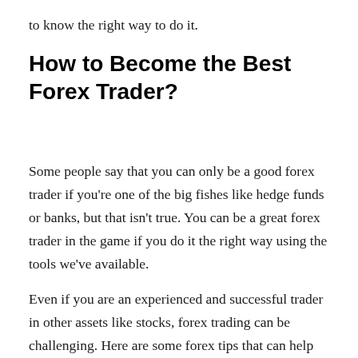to know the right way to do it.
How to Become the Best Forex Trader?
Some people say that you can only be a good forex trader if you're one of the big fishes like hedge funds or banks, but that isn't true. You can be a great forex trader in the game if you do it the right way using the tools we've available.
Even if you are an experienced and successful trader in other assets like stocks, forex trading can be challenging. Here are some forex tips that can help